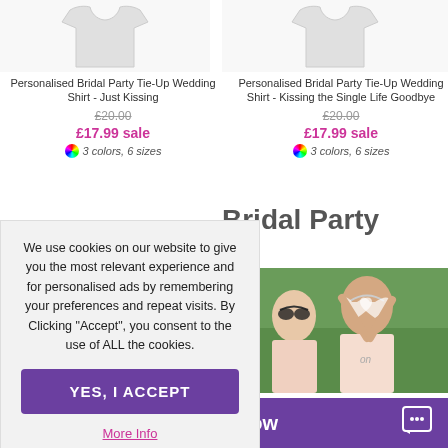[Figure (photo): Shirt product image placeholder left - light grey silhouette of a tie-up wedding shirt]
Personalised Bridal Party Tie-Up Wedding Shirt - Just Kissing
£20.00
£17.99 sale
3 colors, 6 sizes
[Figure (photo): Shirt product image placeholder right - light grey silhouette of a tie-up wedding shirt]
Personalised Bridal Party Tie-Up Wedding Shirt - Kissing the Single Life Goodbye
£20.00
£17.99 sale
3 colors, 6 sizes
Bridal Party
[Figure (photo): Two women in pink tie-up shirts wearing heart-shaped sunglasses celebrating outdoors with greenery in background, text 'on' visible on shirt]
now
We use cookies on our website to give you the most relevant experience and for personalised ads by remembering your preferences and repeat visits. By Clicking "Accept", you consent to the use of ALL the cookies.
YES, I ACCEPT
More Info
BACK TO TOP